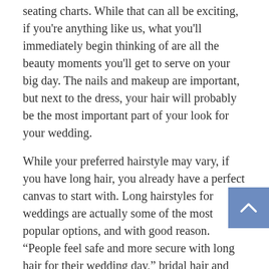seating charts. While that can all be exciting, if you're anything like us, what you'll immediately begin thinking of are all the beauty moments you'll get to serve on your big day. The nails and makeup are important, but next to the dress, your hair will probably be the most important part of your look for your wedding.
While your preferred hairstyle may vary, if you have long hair, you already have a perfect canvas to start with. Long hairstyles for weddings are actually some of the most popular options, and with good reason. “People feel safe and more secure with long hair for their wedding day,” bridal hair and makeup artist Keka Heron tells POPSUGAR. My clients often feel it will give them more options for hairstyles.”
It is in fact true that long-hair wedding styles can give you quite a few more options when it comes time for your big day, but there are a few things to consider when